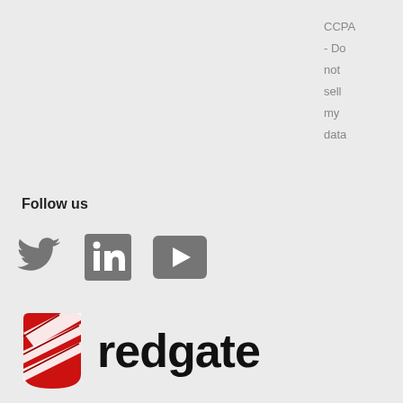CCPA - Do not sell my data
Follow us
[Figure (logo): Social media icons: Twitter bird, LinkedIn square logo, YouTube play button square]
[Figure (logo): Redgate logo: red cylinder/shield icon with white diagonal stripes, and the word 'redgate' in bold black sans-serif text]